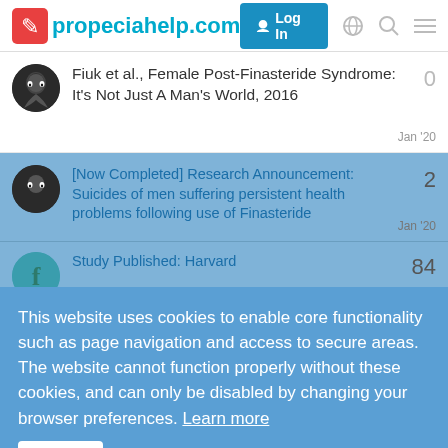propeciahelp.com — Log In
Fiuk et al., Female Post-Finasteride Syndrome: It's Not Just A Man's World, 2016
0
Jan '20
[Now Completed] Research Announcement: Suicides of men suffering persistent health problems following use of Finasteride
2
Jan '20
Study Published: Harvard
84
Oct '19
Post-SSRI sexual dysfunction & other enduring sexual dysfunctions
1
Sep '19
Research Brief: Self-Reports of a
1
This website uses cookies to enable core functionality such as page navigation and access to secure areas. The website cannot function properly without these cookies, and can only be disabled by changing your browser preferences. Learn more
Got It!